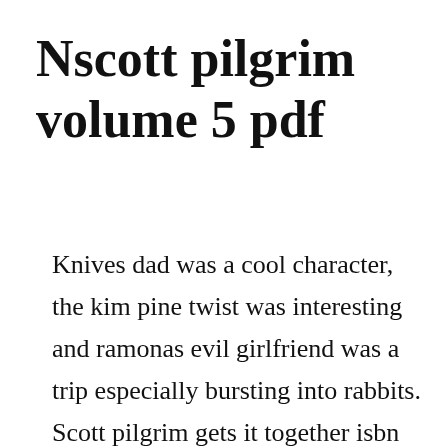Nscott pilgrim volume 5 pdf
Knives dad was a cool character, the kim pine twist was interesting and ramonas evil girlfriend was a trip especially bursting into rabbits. Scott pilgrim gets it together isbn 1932664491 scott pilgrim vs. I had heard about the scott pilgrim series in the past. A timeless story of faith the pilgrim s progress,